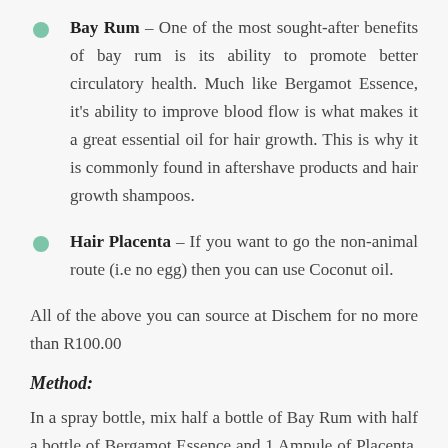Bay Rum – One of the most sought-after benefits of bay rum is its ability to promote better circulatory health. Much like Bergamot Essence, it's ability to improve blood flow is what makes it a great essential oil for hair growth. This is why it is commonly found in aftershave products and hair growth shampoos.
Hair Placenta – If you want to go the non-animal route (i.e no egg) then you can use Coconut oil.
All of the above you can source at Dischem for no more than R100.00
Method:
In a spray bottle, mix half a bottle of Bay Rum with half a bottle of Bergamot Essence and 1 Ampule of Placenta. Shake well and store in a cool and dry